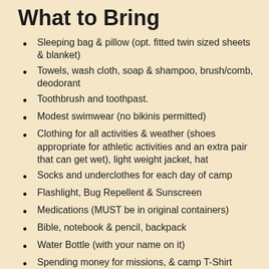What to Bring
Sleeping bag & pillow (opt. fitted twin sized sheets & blanket)
Towels, wash cloth, soap & shampoo, brush/comb, deodorant
Toothbrush and toothpast.
Modest swimwear (no bikinis permitted)
Clothing for all activities & weather (shoes appropriate for athletic activities and an extra pair that can get wet), light weight jacket, hat
Socks and underclothes for each day of camp
Flashlight, Bug Repellent & Sunscreen
Medications (MUST be in original containers)
Bible, notebook & pencil, backpack
Water Bottle (with your name on it)
Spending money for missions,  & camp T-Shirt